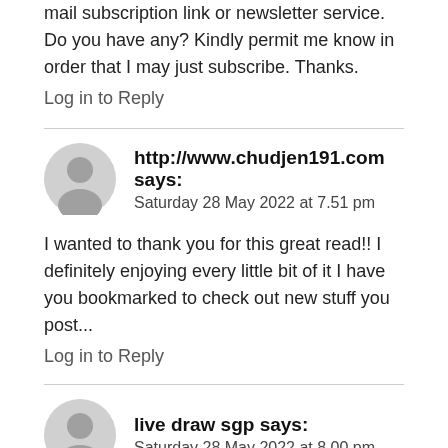mail subscription link or newsletter service. Do you have any? Kindly permit me know in order that I may just subscribe. Thanks.
Log in to Reply
http://www.chudjen191.com says:
Saturday 28 May 2022 at 7.51 pm
I wanted to thank you for this great read!! I definitely enjoying every little bit of it I have you bookmarked to check out new stuff you post...
Log in to Reply
live draw sgp says:
Saturday 28 May 2022 at 8.00 pm
This is a very good tip especially to those fresh to the blogosphere. Short but very accurate info... Many thanks for sharing this one. A must read post...